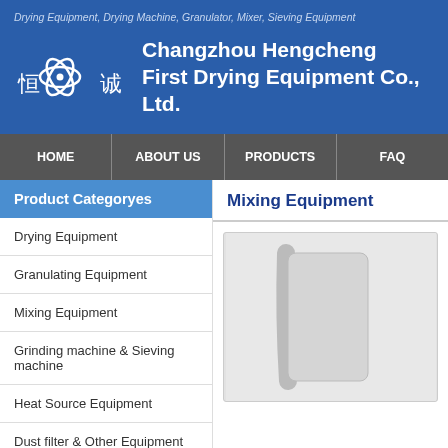Drying Equipment, Drying Machine, Granulator, Mixer, Sieving Equipment
Changzhou Hengcheng First Drying Equipment Co., Ltd.
[Figure (logo): Company logo with Chinese characters 恒 and 诚 and a stylized atomic/molecular symbol in white on blue background]
HOME   ABOUT US   PRODUCTS   FAQ
Product Categoryes
Mixing Equipment
Drying Equipment
Granulating Equipment
Mixing Equipment
Grinding machine & Sieving machine
Heat Source Equipment
Dust filter & Other Equipment
[Figure (photo): Partial view of mixing equipment product image in a light grey box]